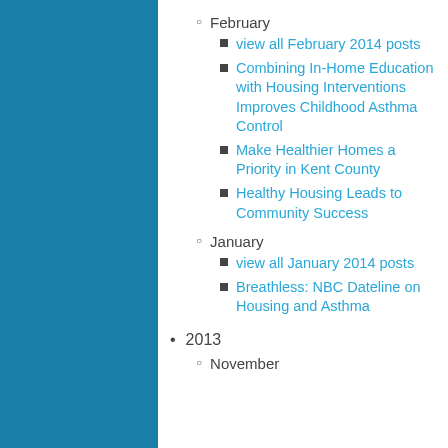February
view all February 2014 posts
Combining In-Home Education with Housing Interventions Improves Childhood Asthma Control
Make Healthier Homes a Priority in Kent County
Healthy Housing Leads to Community Success
January
view all January 2014 posts
Breathless: NBC Dateline on Housing and Asthma
2013
November